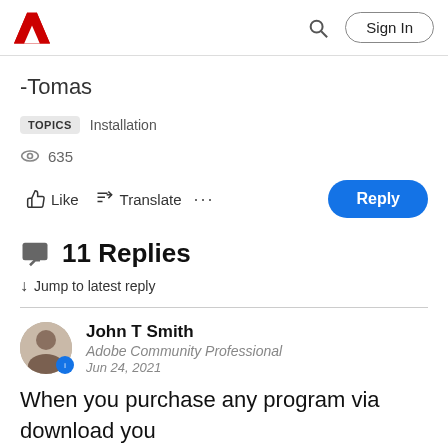Adobe logo | Search | Sign In
-Tomas
TOPICS  Installation
635 views
Like  Translate  ...  Reply
11 Replies
↓ Jump to latest reply
John T Smith
Adobe Community Professional
Jun 24, 2021
When you purchase any program via download you should have...